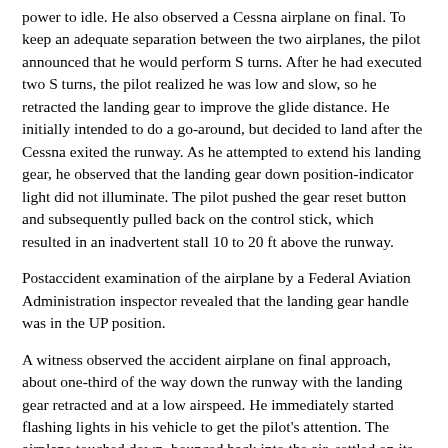power to idle. He also observed a Cessna airplane on final. To keep an adequate separation between the two airplanes, the pilot announced that he would perform S turns. After he had executed two S turns, the pilot realized he was low and slow, so he retracted the landing gear to improve the glide distance. He initially intended to do a go-around, but decided to land after the Cessna exited the runway. As he attempted to extend his landing gear, he observed that the landing gear down position-indicator light did not illuminate. The pilot pushed the gear reset button and subsequently pulled back on the control stick, which resulted in an inadvertent stall 10 to 20 ft above the runway.
Postaccident examination of the airplane by a Federal Aviation Administration inspector revealed that the landing gear handle was in the UP position.
A witness observed the accident airplane on final approach, about one-third of the way down the runway with the landing gear retracted and at a low airspeed. He immediately started flashing lights in his vehicle to get the pilot's attention. The airplane touched down, bounced back into the air, settled on its belly and slid about 100 ft to a stop.